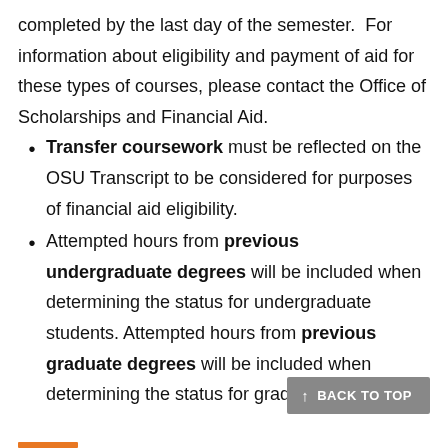completed by the last day of the semester. For information about eligibility and payment of aid for these types of courses, please contact the Office of Scholarships and Financial Aid.
Transfer coursework must be reflected on the OSU Transcript to be considered for purposes of financial aid eligibility.
Attempted hours from previous undergraduate degrees will be included when determining the status for undergraduate students. Attempted hours from previous graduate degrees will be included when determining the status for graduate students.